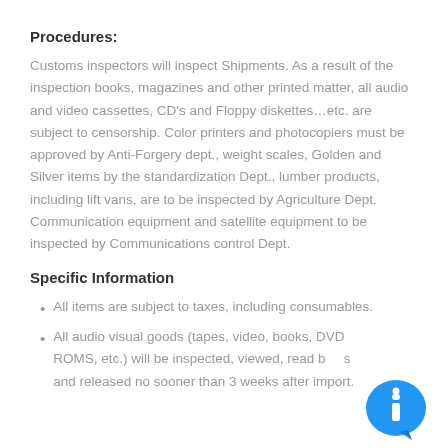Procedures:
Customs inspectors will inspect Shipments. As a result of the inspection books, magazines and other printed matter, all audio and video cassettes, CD’s and Floppy diskettes…etc. are subject to censorship. Color printers and photocopiers must be approved by Anti-Forgery dept., weight scales, Golden and Silver items by the standardization Dept., lumber products, including lift vans, are to be inspected by Agriculture Dept. Communication equipment and satellite equipment to be inspected by Communications control Dept.
Specific Information
All items are subject to taxes, including consumables.
All audio visual goods (tapes, video, books, DVD ROMS, etc.) will be inspected, viewed, read by ... and released no sooner than 3 weeks after import.